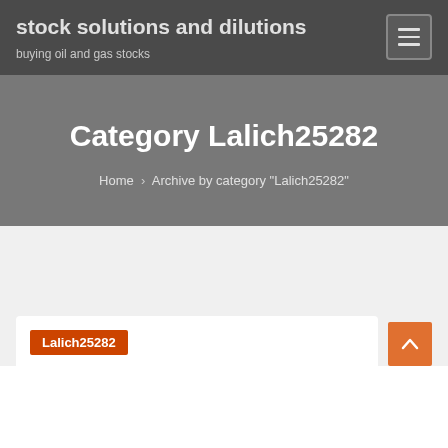stock solutions and dilutions
buying oil and gas stocks
Category Lalich25282
Home › Archive by category "Lalich25282"
Lalich25282